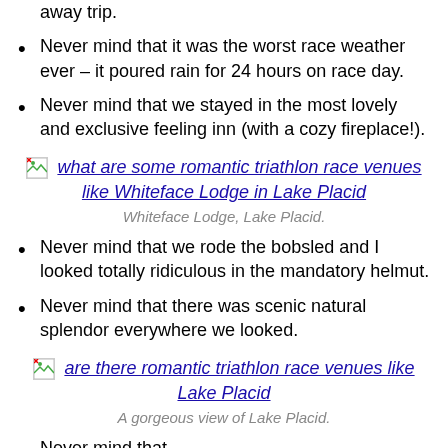away trip.
Never mind that it was the worst race weather ever – it poured rain for 24 hours on race day.
Never mind that we stayed in the most lovely and exclusive feeling inn (with a cozy fireplace!).
[Figure (other): Broken image icon placeholder for link to Whiteface Lodge Lake Placid photo]
what are some romantic triathlon race venues like Whiteface Lodge in Lake Placid
Whiteface Lodge, Lake Placid.
Never mind that we rode the bobsled and I looked totally ridiculous in the mandatory helmut.
Never mind that there was scenic natural splendor everywhere we looked.
[Figure (other): Broken image icon placeholder for link to Lake Placid photo]
are there romantic triathlon race venues like Lake Placid
A gorgeous view of Lake Placid.
Never mind that...